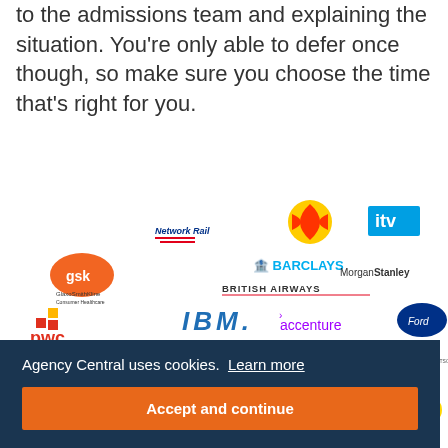to the admissions team and explaining the situation. You're only able to defer once though, so make sure you choose the time that's right for you.
[Figure (illustration): A collage of company logos including Network Rail, Shell, ITV, Barclays, GSK/GlaxoSmithKline, Morgan Stanley, British Airways, PwC, IBM, Accenture, Ford, Deloitte, Fujitsu, Capgemini, Cisco, BT, Credit Suisse, P&G, Morrisons, HP, Metropolitan Police, Logica, CGI, HSBC and others.]
Agency Central uses cookies.  Learn more
Accept and continue